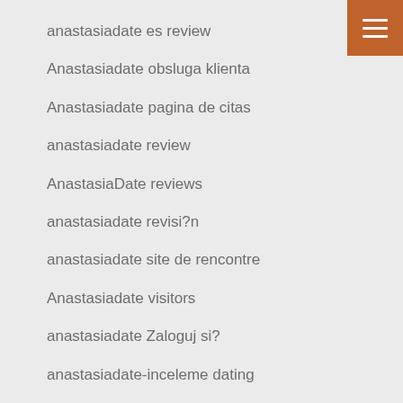[Figure (other): Orange hamburger menu button in top-right corner with three white horizontal lines]
anastasiadate es review
Anastasiadate obsluga klienta
Anastasiadate pagina de citas
anastasiadate review
AnastasiaDate reviews
anastasiadate revisi?n
anastasiadate site de rencontre
Anastasiadate visitors
anastasiadate Zaloguj si?
anastasiadate-inceleme dating
anastasiadate-inceleme giriE u yapmak
anastasiadate-inceleme visitors
anastasiadate-recenze Mobile